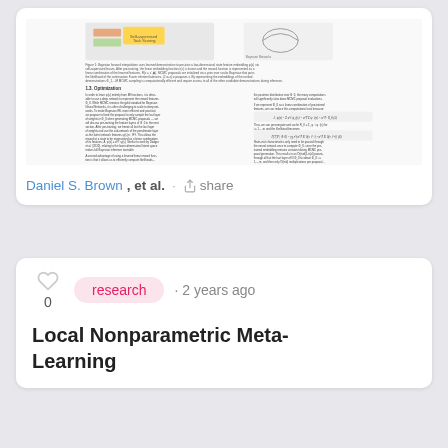[Figure (screenshot): Thumbnail preview of a scientific paper page showing figures and two-column text about Bayesian forward models and MCMC optimization]
Daniel S. Brown, et al. · share
research · 2 years ago
Local Nonparametric Meta-Learning